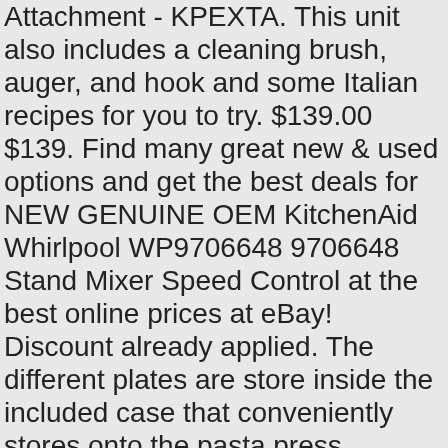Attachment - KPEXTA. This unit also includes a cleaning brush, auger, and hook and some Italian recipes for you to try. $139.00 $139. Find many great new & used options and get the best deals for NEW GENUINE OEM KitchenAid Whirlpool WP9706648 9706648 Stand Mixer Speed Control at the best online prices at eBay! Discount already applied. The different plates are store inside the included case that conveniently stores onto the pasta press attachment. Your KitchenAid … If you have … Free shipping. From creamy ice cream to tender risotto, there's an attachment to make even the toughest kitchen tasks simple. From creamy ice cream to tender risotto, there's an attachment to make even the toughest kitchen tasks simple. 00 $189.99 $189.99. 4.6 out of 5 stars 1,462. Coffee Maker Replacement Carafes & Accessories. (16) 16 product ratings - KitchenAid Gourmet Pasta Press Attachment (Bucatini, Rigatoni, Spaghetti, Fus… $199.95. Impresa Products 4 Oz Food Grade Grease for Stand Mixer Universally Compatible- MADE IN … Do you have a question about the KitchenAid Gourmet Pasta Press … For tips on how to prevent oil from leaking from a KitchenAid Stand